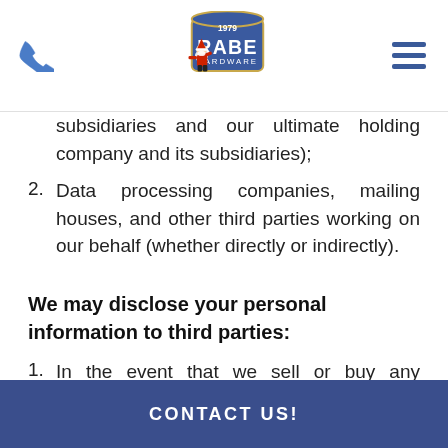Rabe Hardware — page header with phone icon, logo, and menu icon
subsidiaries and our ultimate holding company and its subsidiaries);
2. Data processing companies, mailing houses, and other third parties working on our behalf (whether directly or indirectly).
We may disclose your personal information to third parties:
1. In the event that we sell or buy any business, assets, or shares, in which case we may disclose your personal data to the
CONTACT US!